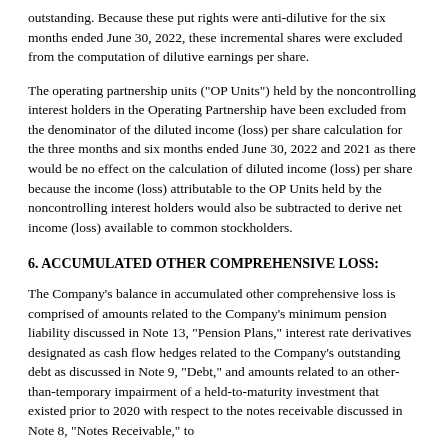outstanding. Because these put rights were anti-dilutive for the six months ended June 30, 2022, these incremental shares were excluded from the computation of dilutive earnings per share.
The operating partnership units ("OP Units") held by the noncontrolling interest holders in the Operating Partnership have been excluded from the denominator of the diluted income (loss) per share calculation for the three months and six months ended June 30, 2022 and 2021 as there would be no effect on the calculation of diluted income (loss) per share because the income (loss) attributable to the OP Units held by the noncontrolling interest holders would also be subtracted to derive net income (loss) available to common stockholders.
6. ACCUMULATED OTHER COMPREHENSIVE LOSS:
The Company's balance in accumulated other comprehensive loss is comprised of amounts related to the Company's minimum pension liability discussed in Note 13, "Pension Plans," interest rate derivatives designated as cash flow hedges related to the Company's outstanding debt as discussed in Note 9, "Debt," and amounts related to an other-than-temporary impairment of a held-to-maturity investment that existed prior to 2020 with respect to the notes receivable discussed in Note 8, "Notes Receivable," to